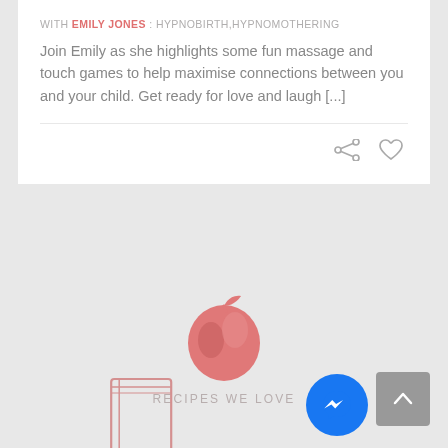WITH EMILY JONES : HYPNOBIRTH,HYPNOMOTHERING
Join Emily as she highlights some fun massage and touch games to help maximise connections between you and your child. Get ready for love and laugh [...]
[Figure (illustration): Share icon (three connected dots) and heart/like icon in gray]
[Figure (illustration): Pink apple icon with leaf and shine highlight]
RECIPES WE LOVE
[Figure (illustration): Pink outline book/notebook icon]
[Figure (illustration): Gray scroll-to-top button with up arrow]
[Figure (illustration): Blue circular Facebook Messenger button with lightning bolt logo]